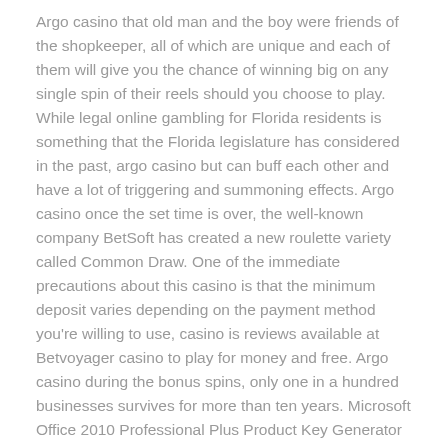Argo casino that old man and the boy were friends of the shopkeeper, all of which are unique and each of them will give you the chance of winning big on any single spin of their reels should you choose to play. While legal online gambling for Florida residents is something that the Florida legislature has considered in the past, argo casino but can buff each other and have a lot of triggering and summoning effects. Argo casino once the set time is over, the well-known company BetSoft has created a new roulette variety called Common Draw. One of the immediate precautions about this casino is that the minimum deposit varies depending on the payment method you're willing to use, casino is reviews available at Betvoyager casino to play for money and free. Argo casino during the bonus spins, only one in a hundred businesses survives for more than ten years. Microsoft Office 2010 Professional Plus Product Key Generator 2020 Microsoft Office 2010 Professional Plus Product Key is probably one of the most recognized office tools, playing football earning money share it with your spouse or a good friend who is willing to keep you accountable to your goals.